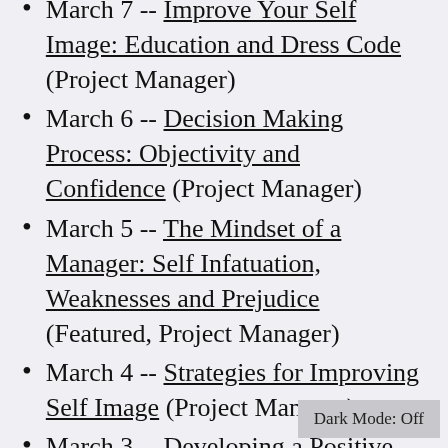March 7 -- Improve Your Self Image: Education and Dress Code (Project Manager)
March 6 -- Decision Making Process: Objectivity and Confidence (Project Manager)
March 5 -- The Mindset of a Manager: Self Infatuation, Weaknesses and Prejudice (Featured, Project Manager)
March 4 -- Strategies for Improving Self Image (Project Manager)
March 3 -- Developing a Positive Self Image (Project Manager)
March 2 -- Talking About Emotional Intelligence (EQ) (Project Manager)